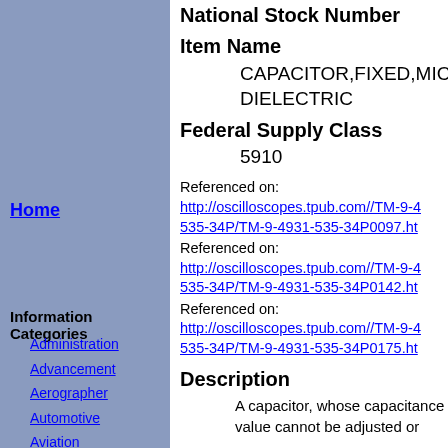National Stock Number
Item Name
CAPACITOR,FIXED,MICA DIELECTRIC
Federal Supply Class
5910
Referenced on: http://oscilloscopes.tpub.com//TM-9-4931-535-34P/TM-9-4931-535-34P0097.ht
Referenced on: http://oscilloscopes.tpub.com//TM-9-4931-535-34P/TM-9-4931-535-34P0142.ht
Referenced on: http://oscilloscopes.tpub.com//TM-9-4931-535-34P/TM-9-4931-535-34P0175.ht
Description
A capacitor, whose capacitance value cannot be adjusted or
Home
Information Categories
Administration
Advancement
Aerographer
Automotive
Aviation
Construction
Diving
Draftsman
Engineering
Electronics
Food and Cooking
Logistics
Math
Medical